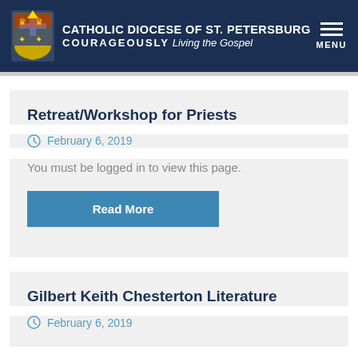CATHOLIC DIOCESE OF ST. PETERSBURG COURAGEOUSLY Living the Gospel MENU
Retreat/Workshop for Priests
February 6, 2019
You must be logged in to view this page.
Read More
Gilbert Keith Chesterton Literature
February 6, 2019